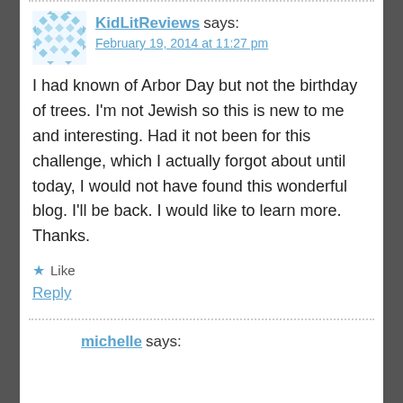[Figure (illustration): Avatar icon for KidLitReviews — a decorative diamond/snowflake pattern in light blue]
KidLitReviews says:
February 19, 2014 at 11:27 pm
I had known of Arbor Day but not the birthday of trees. I'm not Jewish so this is new to me and interesting. Had it not been for this challenge, which I actually forgot about until today, I would not have found this wonderful blog. I'll be back. I would like to learn more. Thanks.
Like
Reply
michelle says: